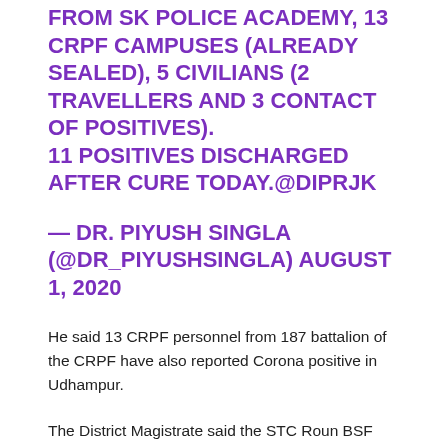FROM SK POLICE ACADEMY, 13 CRPF CAMPUSES (ALREADY SEALED), 5 CIVILIANS (2 TRAVELLERS AND 3 CONTACT OF POSITIVES). 11 POSITIVES DISCHARGED AFTER CURE TODAY.@DIPRJK
— DR. PIYUSH SINGLA (@DR_PIYUSHSINGLA) AUGUST 1, 2020
He said 13 CRPF personnel from 187 battalion of the CRPF have also reported Corona positive in Udhampur.
The District Magistrate said the STC Roun BSF has been contained as some BSF personnel there had reported